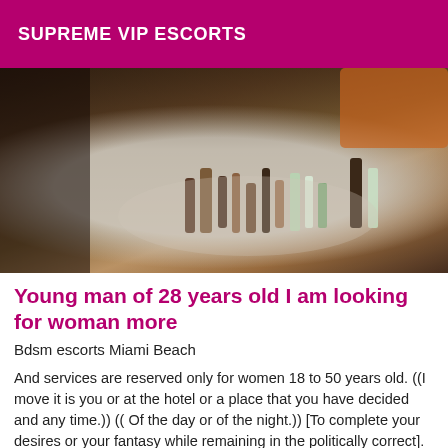SUPREME VIP ESCORTS
[Figure (photo): Interior bathroom/vanity photo showing a sink with various bottles and personal care products scattered around it, dimly lit with cluttered surroundings]
Young man of 28 years old I am looking for woman more
Bdsm escorts Miami Beach
And services are reserved only for women 18 to 50 years old. ((I move it is you or at the hotel or a place that you have decided and any time.)) (( Of the day or of the night.)) [To complete your desires or your fantasy while remaining in the politically correct]. [Compared to my